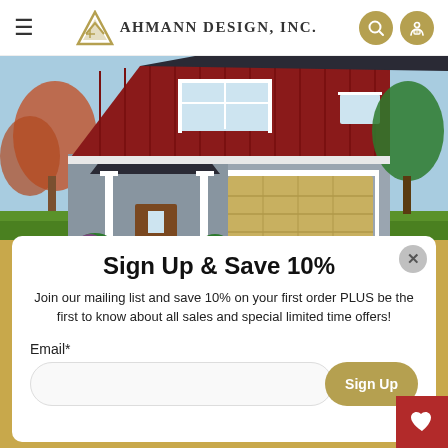Ahmann Design, Inc.
[Figure (photo): Exterior rendering of a two-story craftsman-style house with red board-and-batten upper story, gray siding, double garage door, covered porch, and surrounding landscaping.]
Sign Up & Save 10%
Join our mailing list and save 10% on your first order PLUS be the first to know about all sales and special limited time offers!
Email*
Sign Up